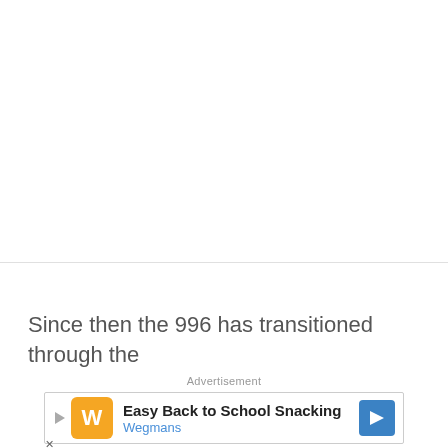Since then the 996 has transitioned through the
Advertisement
[Figure (other): Advertisement banner for Wegmans: Easy Back to School Snacking, with Wegmans logo icon, play button, close button, and navigation arrow]